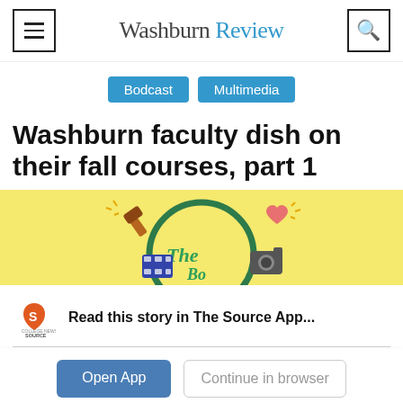Washburn Review
Bodcast
Multimedia
Washburn faculty dish on their fall courses, part 1
[Figure (illustration): Yellow background illustration showing The Bodcast logo with a circular green ring and cartoon icons of a gavel, film reel, camera, and heart.]
Read this story in The Source App...
Open App
Continue in browser